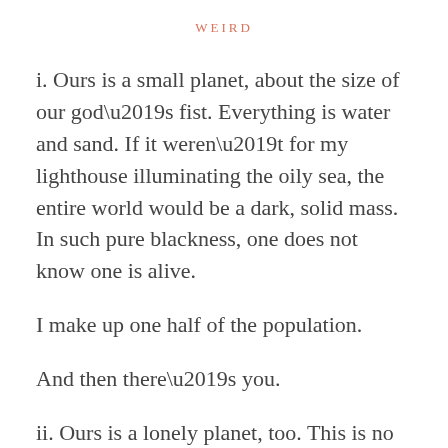WEIRD
i. Ours is a small planet, about the size of our god’s fist. Everything is water and sand. If it weren’t for my lighthouse illuminating the oily sea, the entire world would be a dark, solid mass. In such pure blackness, one does not know one is alive.
I make up one half of the population.
And then there’s you.
ii. Ours is a lonely planet, too. This is no place